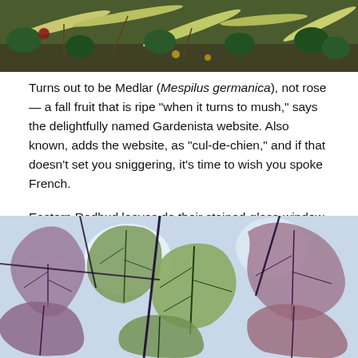[Figure (photo): Close-up photo of plant leaves and foliage on the ground, including long narrow pale leaves and dark green rounded leaves]
Turns out to be Medlar (Mespilus germanica), not rose — a fall fruit that is ripe “when it turns to mush,” says the delightfully named Gardenista website. Also known, adds the website, as “cul-de-chien,” and if that doesn’t set you sniggering, it’s time to wish you spoke French.
Eastern Redbud leaves do their stained-glass-window impersonation when viewed against the sun …
[Figure (photo): Photo of Eastern Redbud leaves backlit against the sun, creating a stained-glass-window effect with purple-tinted and green heart-shaped leaves with visible veins]